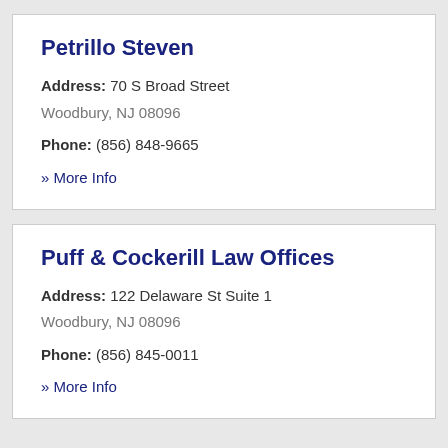Petrillo Steven
Address: 70 S Broad Street
Woodbury, NJ 08096
Phone: (856) 848-9665
» More Info
Puff & Cockerill Law Offices
Address: 122 Delaware St Suite 1
Woodbury, NJ 08096
Phone: (856) 845-0011
» More Info